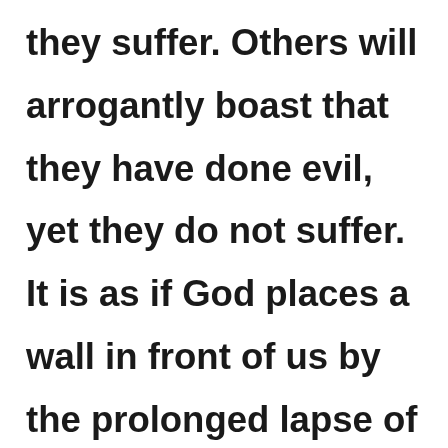they suffer. Others will arrogantly boast that they have done evil, yet they do not suffer.  It is as if God places a wall in front of us by the prolonged lapse of time between cause and effect; we do not know what fate exist around the corner. This lapse of time between cause and effect often